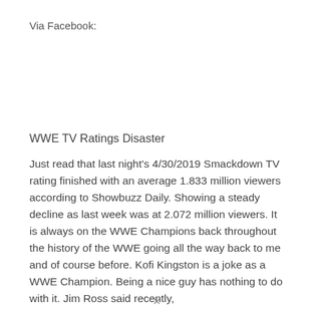Via Facebook:
WWE TV Ratings Disaster
Just read that last night's 4/30/2019 Smackdown TV rating finished with an average 1.833 million viewers according to Showbuzz Daily. Showing a steady decline as last week was at 2.072 million viewers. It is always on the WWE Champions back throughout the history of the WWE going all the way back to me and of course before. Kofi Kingston is a joke as a WWE Champion. Being a nice guy has nothing to do with it. Jim Ross said recently,